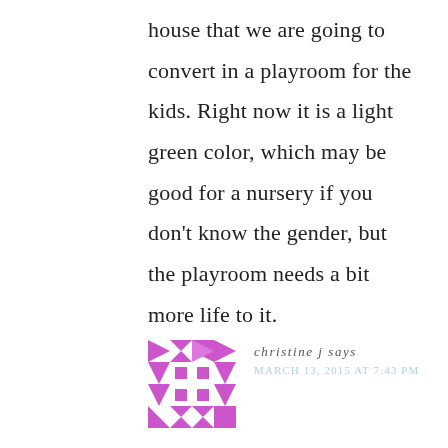house that we are going to convert in a playroom for the kids. Right now it is a light green color, which may be good for a nursery if you don't know the gender, but the playroom needs a bit more life to it.
[Figure (logo): Purple geometric quilt-pattern avatar icon made of triangles and squares, with a faded reflection below]
christine j says
MARCH 13, 2015 AT 7:43 PM